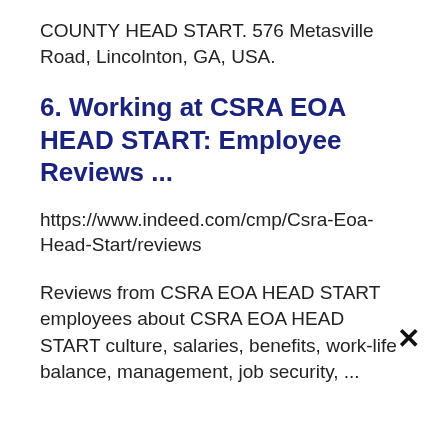COUNTY HEAD START. 576 Metasville Road, Lincolnton, GA, USA.
6. Working at CSRA EOA HEAD START: Employee Reviews ...
https://www.indeed.com/cmp/Csra-Eoa-Head-Start/reviews
Reviews from CSRA EOA HEAD START employees about CSRA EOA HEAD START culture, salaries, benefits, work-life balance, management, job security, ...